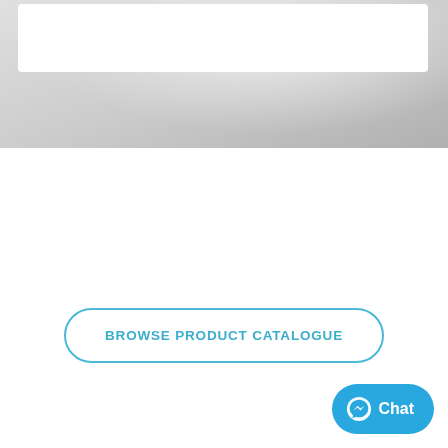[Figure (photo): Light grey/white interior background photo, partially visible at top of page with a white rectangular overlay box]
BROWSE PRODUCT CATALOGUE
[Figure (other): Facebook Messenger Chat button (blue pill-shaped button with messenger icon and 'Chat' label) in bottom-right corner]